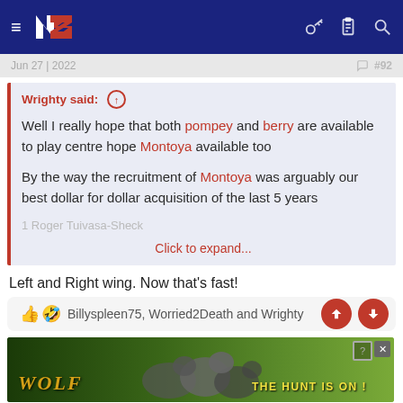[Figure (screenshot): Navigation bar with hamburger menu, NZ Warriors logo, key icon, clipboard icon, and search icon on dark navy background]
Jun 27 | 2022  #92
Wrighty said: ↑
Well I really hope that both pompey and berry are available to play centre hope Montoya available too

By the way the recruitment of Montoya was arguably our best dollar for dollar acquisition of the last 5 years

1 Roger Tuivasa-Sheck
Click to expand...
Left and Right wing. Now that's fast!
👍 🤣 Billyspleen75, Worried2Death and Wrighty
[Figure (photo): Advertisement banner showing wolves in a field with text WOLF THE HUNT IS ON!]